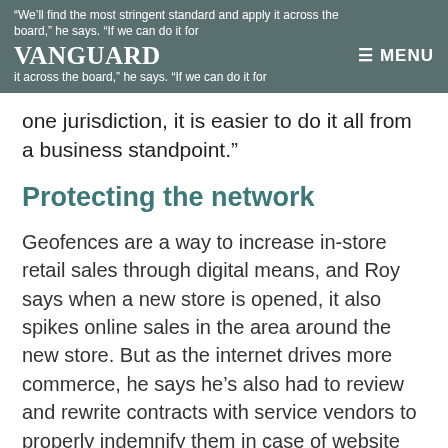“We’ll find the most stringent standard and apply it across the board,” he says. “If we can do it for one jurisdiction, it is easier to do it all from a business standpoint.”
Protecting the network
Geofences are a way to increase in-store retail sales through digital means, and Roy says when a new store is opened, it also spikes online sales in the area around the new store. But as the internet drives more commerce, he says he’s also had to review and rewrite contracts with service vendors to properly indemnify them in case of website disruptions or crashes.